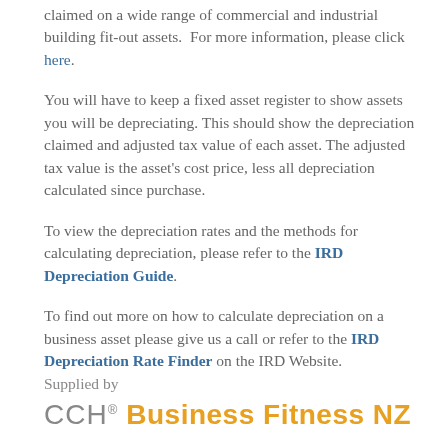claimed on a wide range of commercial and industrial building fit-out assets. For more information, please click here.
You will have to keep a fixed asset register to show assets you will be depreciating. This should show the depreciation claimed and adjusted tax value of each asset. The adjusted tax value is the asset's cost price, less all depreciation calculated since purchase.
To view the depreciation rates and the methods for calculating depreciation, please refer to the IRD Depreciation Guide.
To find out more on how to calculate depreciation on a business asset please give us a call or refer to the IRD Depreciation Rate Finder on the IRD Website.
Supplied by
CCH® Business Fitness NZ